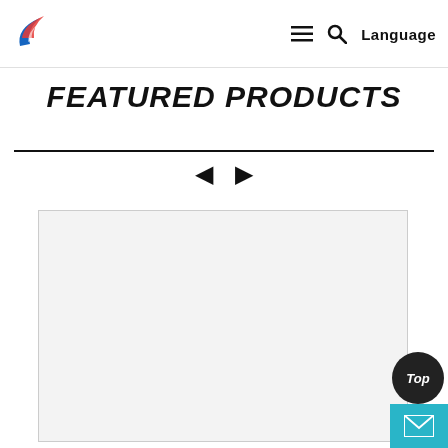Language
FEATURED PRODUCTS
[Figure (other): Product image placeholder — light grey rectangle with dark border]
[Figure (other): Dark circular 'Top' scroll-to-top button and teal mail button in bottom-right corner]